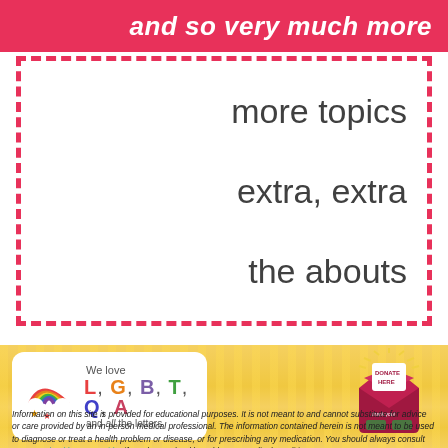and so very much more
more topics
extra, extra
the abouts
[Figure (illustration): White rounded badge with rainbow and clouds icon on left, text reading 'We love L, G, B, T, Q, A and all the letters' with colorful letters]
[Figure (illustration): Donate Here envelope illustration with rays of light emanating from it]
Information on this site is provided for educational purposes. It is not meant to and cannot substitute for advice or care provided by an in-person medical professional. The information contained herein is not meant to be used to diagnose or treat a health problem or disease, or for prescribing any medication. You should always consult your own healthcare provider if you have a health problem or medical condition.